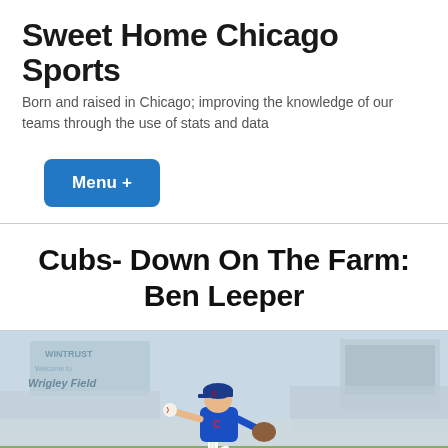Sweet Home Chicago Sports
Born and raised in Chicago; improving the knowledge of our teams through the use of stats and data
Menu +
Cubs- Down On The Farm: Ben Leeper
[Figure (photo): A baseball pitcher in a blue Chicago Cubs uniform mid-windup on a pitching mound, with Wrigley Field stadium visible in the background filled with spectators.]